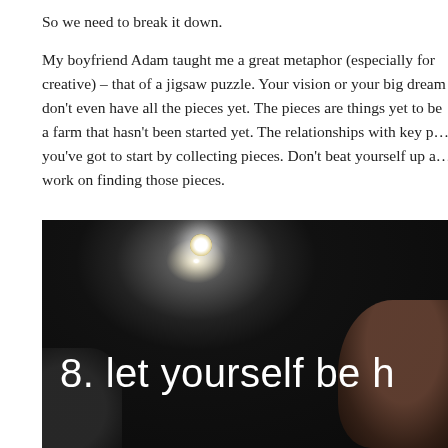So we need to break it down.
My boyfriend Adam taught me a great metaphor (especially for creative) – that of a jigsaw puzzle. Your vision or your big dream don't even have all the pieces yet. The pieces are things yet to be a farm that hasn't been started yet. The relationships with key people you've got to start by collecting pieces. Don't beat yourself up and work on finding those pieces.
[Figure (photo): Dark photograph with a bright light spot near the top center, text overlay reading '8. let yourself be h' (partially cropped), and a dark silhouette of a person visible on the right side]